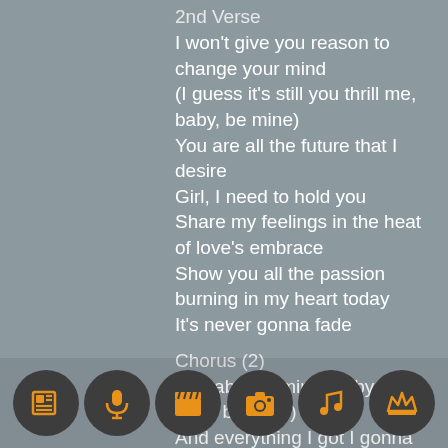2nd Verse
I won't give you reason to change your mind
(I guess it's still you thrill me, baby, be mine)
You are all the future that I desire
Girl, I need to hold you
Share my feelings in the heat of love's embrace
Show you all the passion burning in my heart today
It's never gonna fade
Chorus (2)
So baby, be mine (baby, you gotta be mine)
And everything I got I gonna give
So baby, be my girl (all the
[Figure (infographic): Row of 6 circular dark icons with orange symbols: newspaper, microphone, film clapperboard, camera, music note, crown]